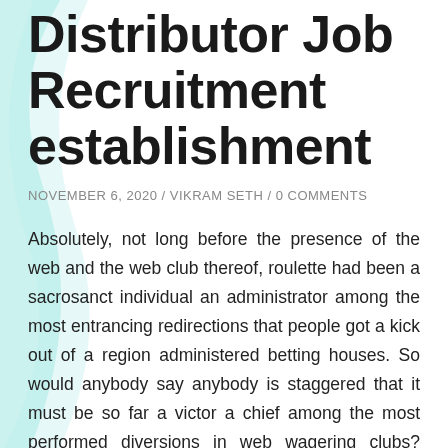Distributor Job Recruitment establishment
NOVEMBER 6, 2020 / VIKRAM SETH / 0 COMMENTS
Absolutely, not long before the presence of the web and the web club thereof, roulette had been a sacrosanct individual an administrator among the most entrancing redirections that people got a kick out of a region administered betting houses. So would anybody say anybody is staggered that it must be so far a victor a chief among the most performed diversions in web wagering clubs? There have been a ton of tales about people winning enormous resources and what is a more noteworthy measure of individuals dropping big time near the undertakings their stage best to remain the tire. Pure and simple, even with